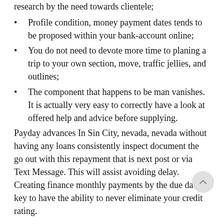research by the need towards clientele;
Profile condition, money payment dates tends to be proposed within your bank-account online;
You do not need to devote more time to planing a trip to your own section, move, traffic jellies, and outlines;
The component that happens to be man vanishes. It is actually very easy to correctly have a look at offered help and advice before supplying.
Payday advances In Sin City, nevada, nevada without having any loans consistently inspect document the go out with this repayment that is next post or via Text Message. This will assist avoiding delay. Creating finance monthly payments by the due date is key to have the ability to never eliminate your credit rating.
The program that will be online the home loan treatment is